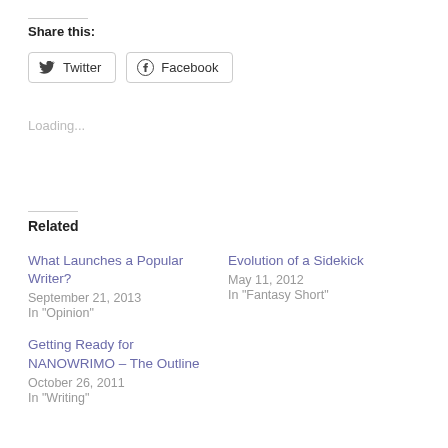Share this:
[Figure (other): Twitter and Facebook share buttons]
Loading...
Related
What Launches a Popular Writer?
September 21, 2013
In "Opinion"
Evolution of a Sidekick
May 11, 2012
In "Fantasy Short"
Getting Ready for NANOWRIMO – The Outline
October 26, 2011
In "Writing"